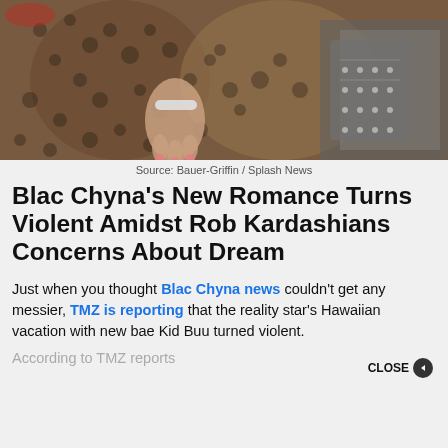[Figure (photo): Close-up photo of Blac Chyna wearing a snake-print outfit, holding a handbag, with a bracelet visible on her wrist. Dark parking lot background.]
Source: Bauer-Griffin / Splash News
Blac Chyna's New Romance Turns Violent Amidst Rob Kardashians Concerns About Dream
Just when you thought Blac Chyna news couldn't get any messier, TMZ is reporting that the reality star's Hawaiian vacation with new bae Kid Buu turned violent.
According to TMZ reports